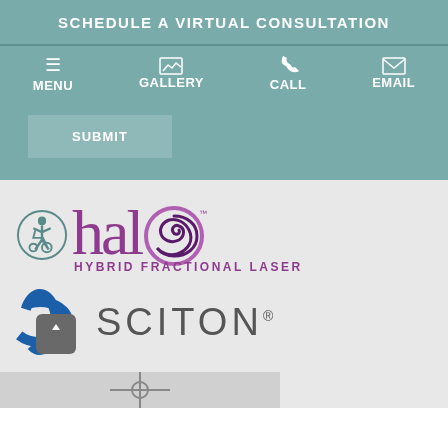SCHEDULE A VIRTUAL CONSULTATION
MENU | GALLERY | CALL | EMAIL
SUBMIT
[Figure (logo): Halo Hybrid Fractional Laser logo with swirl O design in purple/magenta tones]
[Figure (logo): Sciton logo with blue swirl graphic and SCITON text]